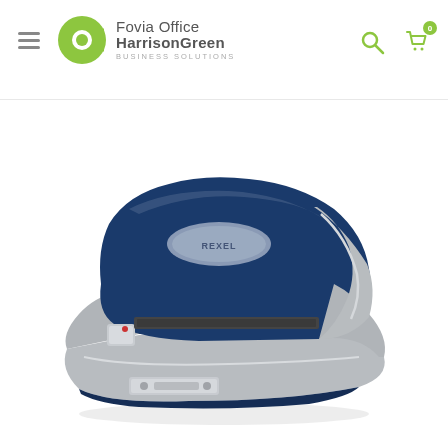Fovia Office HarrisonGreen BUSINESS SOLUTIONS
[Figure (photo): A blue and silver stapler photographed on a white background. The stapler has a dark navy blue top cap and silver/grey metallic body with a chrome stapling mechanism visible from a three-quarter angle view.]